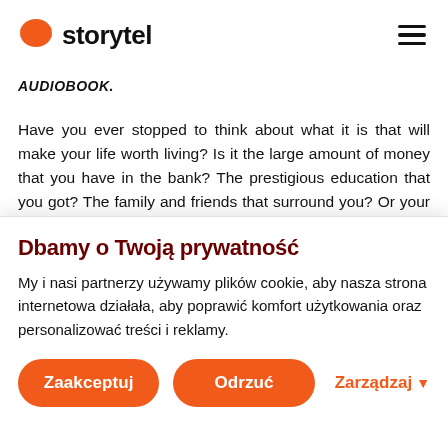storytel
AUDIOBOOK.
Have you ever stopped to think about what it is that will make your life worth living? Is it the large amount of money that you have in the bank? The prestigious education that you got? The family and friends that surround you? Or your spiritual belief that there is someone greater than you in the
Dbamy o Twoją prywatność
My i nasi partnerzy używamy plików cookie, aby nasza strona internetowa działała, aby poprawić komfort użytkowania oraz personalizować treści i reklamy.
Zaakceptuj   Odrzuć   Zarządzaj